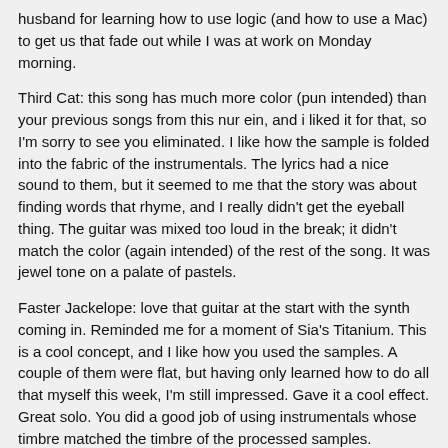husband for learning how to use logic (and how to use a Mac) to get us that fade out while I was at work on Monday morning.
Third Cat: this song has much more color (pun intended) than your previous songs from this nur ein, and i liked it for that, so I'm sorry to see you eliminated. I like how the sample is folded into the fabric of the instrumentals. The lyrics had a nice sound to them, but it seemed to me that the story was about finding words that rhyme, and I really didn't get the eyeball thing. The guitar was mixed too loud in the break; it didn't match the color (again intended) of the rest of the song. It was jewel tone on a palate of pastels.
Faster Jackelope: love that guitar at the start with the synth coming in. Reminded me for a moment of Sia's Titanium. This is a cool concept, and I like how you used the samples. A couple of them were flat, but having only learned how to do all that myself this week, I'm still impressed. Gave it a cool effect. Great solo. You did a good job of using instrumentals whose timbre matched the timbre of the processed samples.
Iveg: this is such a sweet story, and the instrumentals match the feel of it. I love the references to childhood crafts- ex distance no glue can mend- and the nostalgic quality to the story. I would have used the duality of crayon's pronunciation to your advantage, mainly saying cray-on most of the time, but on that last line, color me with crooked crans, just to make the line flow a little better. Others can do it, but you could even with doing